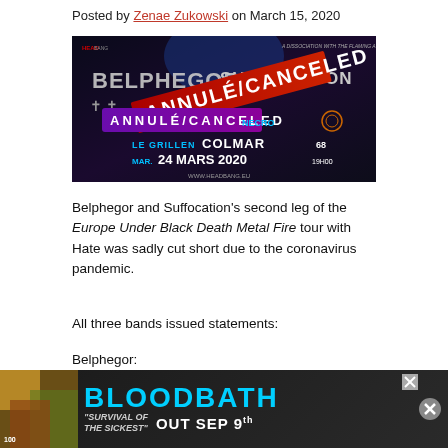Posted by Zenae Zukowski on March 15, 2020
[Figure (photo): Concert event poster for Belphegor and Suffocation at Le Grillen Colmar 68, MAR. 24 MARS 2020 19H00, overlaid with ANNULÉ / CANCELED banner in red and purple]
Belphegor and Suffocation's second leg of the Europe Under Black Death Metal Fire tour with Hate was sadly cut short due to the coronavirus pandemic.
All three bands issued statements:
Belphegor:
"CORONA/HYSTERIA: IT IS THE EUROPEAN DATE..."
[Figure (advertisement): Bloodbath album ad - SURVIVAL OF THE SICKEST, OUT SEP 9th]